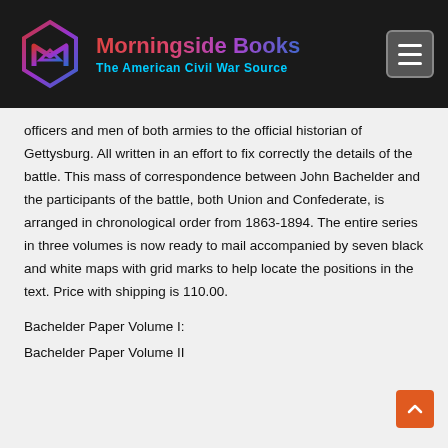Morningside Books — The American Civil War Source
officers and men of both armies to the official historian of Gettysburg. All written in an effort to fix correctly the details of the battle. This mass of correspondence between John Bachelder and the participants of the battle, both Union and Confederate, is arranged in chronological order from 1863-1894. The entire series in three volumes is now ready to mail accompanied by seven black and white maps with grid marks to help locate the positions in the text. Price with shipping is 110.00.
Bachelder Paper Volume I:
Bachelder Paper Volume II